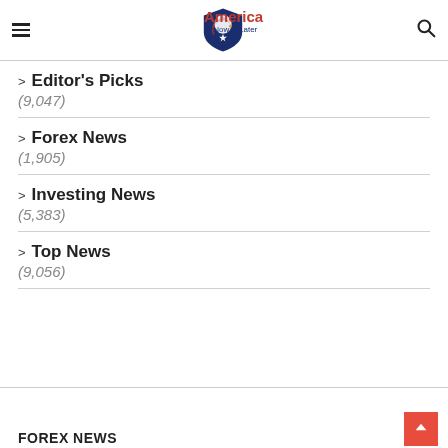America Now & Later
Editor's Picks (9,047)
Forex News (1,905)
Investing News (5,383)
Top News (9,056)
FOREX NEWS